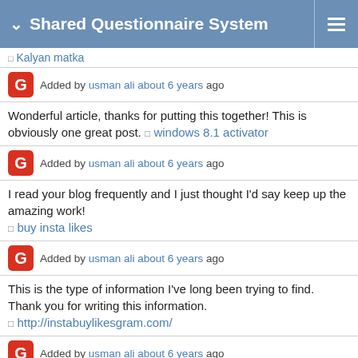Shared Questionnaire System
Kalyan matka
Added by usman ali about 6 years ago
Wonderful article, thanks for putting this together! This is obviously one great post. windows 8.1 activator
Added by usman ali about 6 years ago
I read your blog frequently and I just thought I'd say keep up the amazing work!
buy insta likes
Added by usman ali about 6 years ago
This is the type of information I've long been trying to find. Thank you for writing this information.
http://instabuylikesgram.com/
Added by usman ali about 6 years ago
Hello There. I found your blog using msn. This is an extremely well written article. I will be sure to bookmark it and return to read more of your useful information. Thanks for the post. I'll certainly comeback.